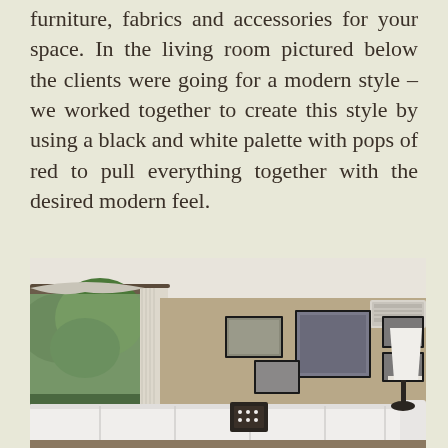furniture, fabrics and accessories for your space. In the living room pictured below the clients were going for a modern style – we worked together to create this style by using a black and white palette with pops of red to pull everything together with the desired modern feel.
[Figure (photo): Interior living room photo showing a white sofa with decorative pillows, framed artwork arranged on a tan/beige wall, a large window with white curtains on the left letting in natural light with greenery visible outside, a white lamp on the right side, and a wall-mounted air conditioning unit in the upper right corner.]